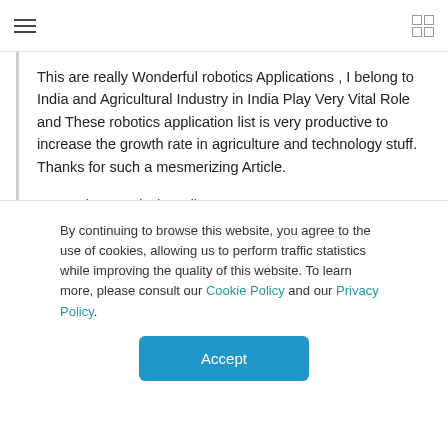This are really Wonderful robotics Applications , I belong to India and Agricultural Industry in India Play Very Vital Role and These robotics application list is very productive to increase the growth rate in agriculture and technology stuff. Thanks for such a mesmerizing Article.
← Reply to Ashwin Galhotra
By continuing to browse this website, you agree to the use of cookies, allowing us to perform traffic statistics while improving the quality of this website. To learn more, please consult our Cookie Policy and our Privacy Policy.
Accept